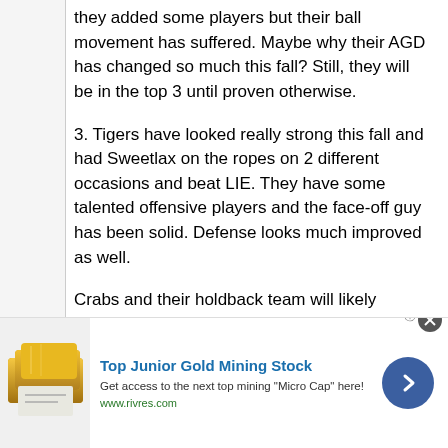they added some players but their ball movement has suffered. Maybe why their AGD has changed so much this fall? Still, they will be in the top 3 until proven otherwise.
3. Tigers have looked really strong this fall and had Sweetlax on the ropes on 2 different occasions and beat LIE. They have some talented offensive players and the face-off guy has been solid. Defense looks much improved as well.
Crabs and their holdback team will likely compete due to playing with very few actual 2026s, but until they show up and play the top 3 teams, they shouldn't have any claim to the top 3 spots. As I said, this will be settled on the field and if you have yet to see the top 3 teams play, you might want to check them out to see why they're so
[Figure (infographic): Advertisement banner for Top Junior Gold Mining Stock with gold bar image, text 'Get access to the next top mining Micro Cap here!' and www.rivres.com URL, with a blue arrow button]